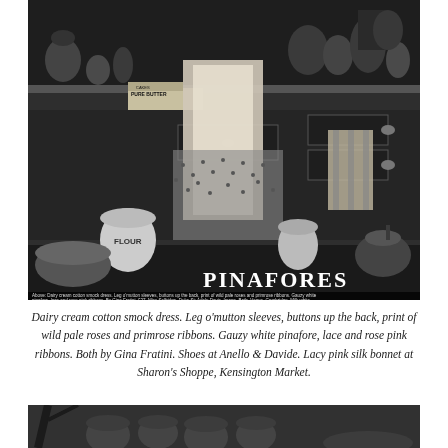[Figure (photo): Black and white photograph of a woman in a dairy cream cotton smock dress with a gauzy white pinafore, standing in a kitchen with shelves of canisters, a 'PURE BUTTER' sign, flour bin, and various kitchen implements. The word PINAFORES appears in the lower right of the image.]
Dairy cream cotton smock dress. Leg o'mutton sleeves, buttons up the back, print of wild pale roses and primrose ribbons. Gauzy white pinafore, lace and rose pink ribbons. Both by Gina Fratini. Shoes at Anello & Davide. Lacy pink silk bonnet at Sharon's Shoppe, Kensington Market.
[Figure (photo): Black and white photograph showing the bottom portion of a scene, partially visible at the bottom of the page.]